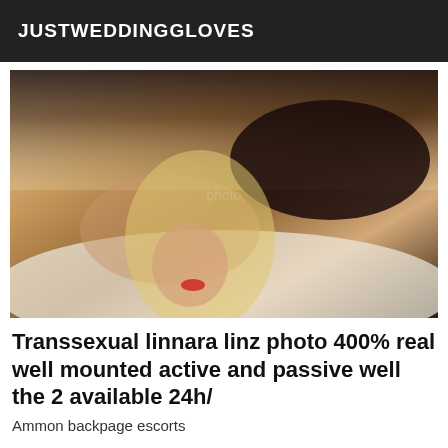JUSTWEDDINGGLOVES
[Figure (photo): A person with long blonde hair wearing black lingerie, posed on a bed]
Transsexual linnara linz photo 400% real well mounted active and passive well the 2 available 24h/
Ammon backpage escorts